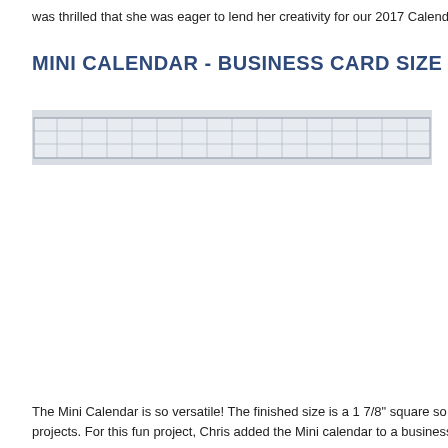was thrilled that she was eager to lend her creativity for our 2017 Calendars
MINI CALENDAR - BUSINESS CARD SIZE
[Figure (photo): A long horizontal strip showing a mini calendar at business card size, with a grid of small calendar cells visible across the strip. The background is light gray/white with thin grid lines.]
The Mini Calendar is so versatile!  The finished size is a 1 7/8" square so it
projects.  For this fun project, Chris added the Mini calendar to a business c